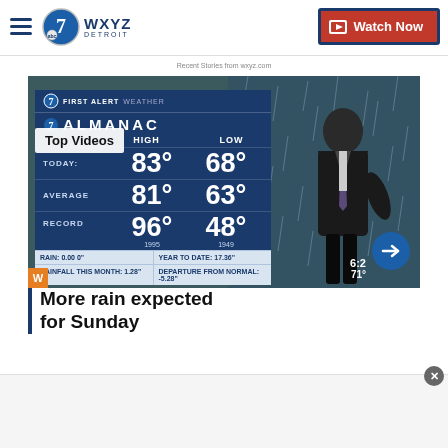WXYZ Detroit — Watch Now
Recent Stories from wxyz.com
[Figure (screenshot): WXYZ Detroit First Alert Weather Almanac TV screenshot showing a meteorologist in front of a weather board. Almanac board shows TODAY HIGH 83° LOW 68°, AVERAGE HIGH 81° LOW 63°, RECORD HIGH 96° (1995) LOW 48° (1949), RAIN: 0.00 0", YEAR TO DATE: 17.36", RAINFALL THIS MONTH: 1.28", DEPARTURE FROM NORMAL: -5.28". Top Videos badge overlaid.]
More rain expected for Sunday